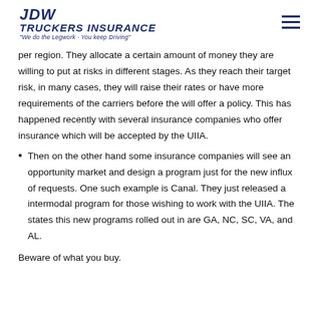JDW TRUCKERS INSURANCE "We do the Legwork - You keep Driving"
per region. They allocate a certain amount of money they are willing to put at risks in different stages. As they reach their target risk, in many cases, they will raise their rates or have more requirements of the carriers before the will offer a policy. This has happened recently with several insurance companies who offer insurance which will be accepted by the UIIA.
Then on the other hand some insurance companies will see an opportunity market and design a program just for the new influx of requests. One such example is Canal. They just released a intermodal program for those wishing to work with the UIIA. The states this new programs rolled out in are GA, NC, SC, VA, and AL.
Beware of what you buy.